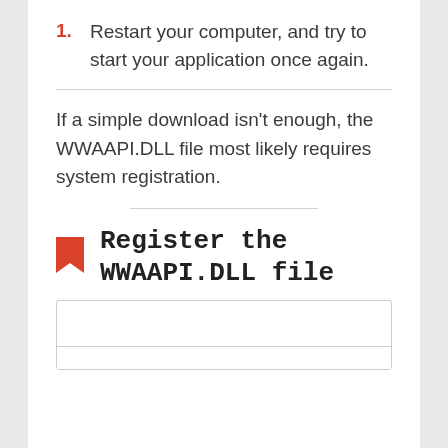1. Restart your computer, and try to start your application once again.
If a simple download isn't enough, the WWAAPI.DLL file most likely requires system registration.
Register the WWAAPI.DLL file
[Figure (other): A box/panel area with an internal dividing line, likely for a code block or input area]